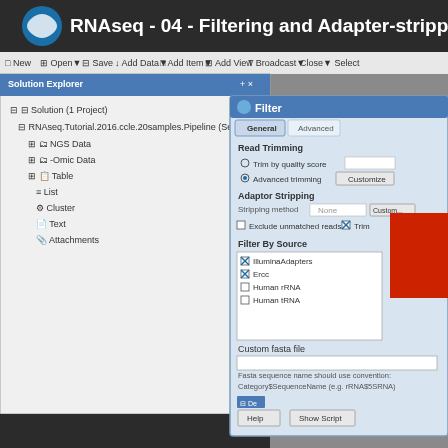[Figure (screenshot): Screenshot of a bioinformatics software (likely Partek Flow or similar) showing an RNAseq filtering and adapter-stripping workflow. The title bar reads 'RNAseq - 04 - Filtering and Adapter-stripping NG...'. On the left is a Solution Explorer panel with a project tree including NGS Data, -Omic Data, Table, List, Cluster, Text, and Attachments. On the right is a Filter dialog with General and Advanced tabs, Read Trimming options (Trim by quality score, Advanced trimming with Customize button), Adaptor Stripping section (Stripping method: None, Customize, Exclude unmatched reads checkbox, Trim checkbox), Filter By Source section with checkboxes for IlluminaAdapters (checked), Ercc (checked), Human rRNA (unchecked), Human tRNA (unchecked), Custom fasta file input, a note about Fasta sequence name convention (Category$SequenceName e.g. rRNA$5SRNA), and Help and Show Script buttons at the bottom. A red rectangle partially covers the upper-right corner of the dialog.]